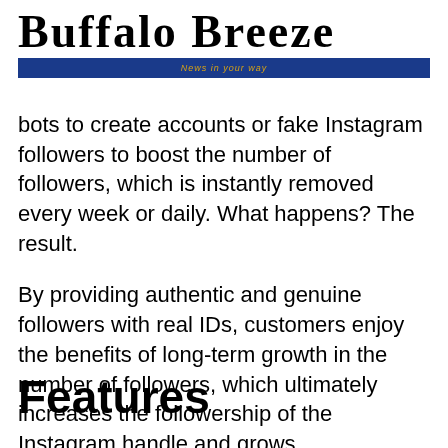Buffalo Breeze — News in your way
bots to create accounts or fake Instagram followers to boost the number of followers, which is instantly removed every week or daily. What happens? The result.
By providing authentic and genuine followers with real IDs, customers enjoy the benefits of long-term growth in the number of followers, which ultimately increases the followership of the Instagram handle and grows exponentially.
Features